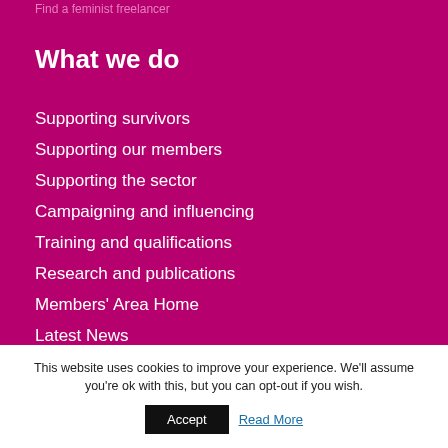Find a feminist freelancer
What we do
Supporting survivors
Supporting our members
Supporting the sector
Campaigning and influencing
Training and qualifications
Research and publications
Members' Area Home
Latest News
This website uses cookies to improve your experience. We'll assume you're ok with this, but you can opt-out if you wish.
Accept
Read More